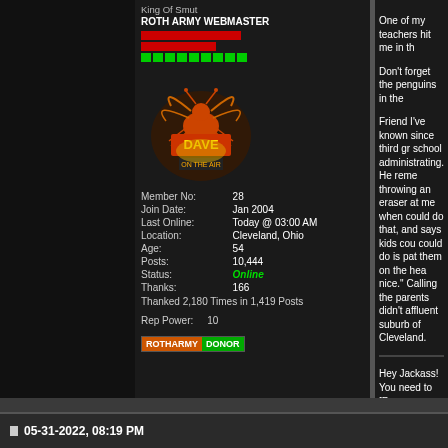King Of Smut
ROTH ARMY WEBMASTER
[Figure (illustration): Dave On The Air logo with spider/mosquito graphic in red/yellow]
| Member No: | 28 |
| Join Date: | Jan 2004 |
| Last Online: | Today @ 03:00 AM |
| Location: | Cleveland, Ohio |
| Age: | 54 |
| Posts: | 10,444 |
| Status: | Online |
| Thanks: | 166 |
Thanked 2,180 Times in 1,419 Posts
Rep Power:    10
[Figure (logo): ROTHARMY DONOR badge]
One of my teachers hit me in th...
Don't forget the penguins in the...
Friend I've known since third gr... school administrating. He reme... throwing an eraser at me when ... could do that, and says kids cou... could do is pat them on the hea... nice." Calling the parents didn't ... affluent suburb of Cleveland.
Hey Jackass! You need to [Reg... ROTHARMY.COM!
05-31-2022, 08:19 PM